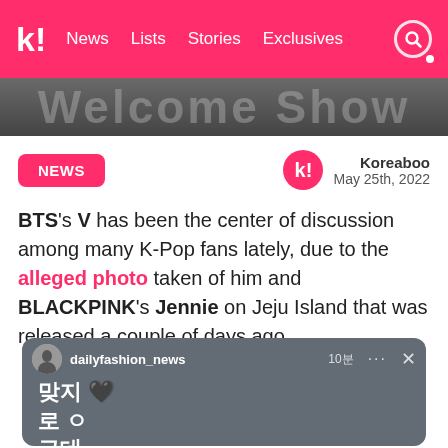k! News  Lists  Stories  Exclusives
[Figure (photo): Partially visible stylized text image strip at top of article]
NEWS
Koreaboo
May 25th, 2022
BTS's V has been the center of discussion among many K-Pop fans lately, due to the alleged photo taken of him and BLACKPINK's Jennie on Jeju Island that was released a couple of days ago.
[Figure (screenshot): Instagram story screenshot showing dailyfashion_news account with Korean text: 맞지 ♥ 로 근데]